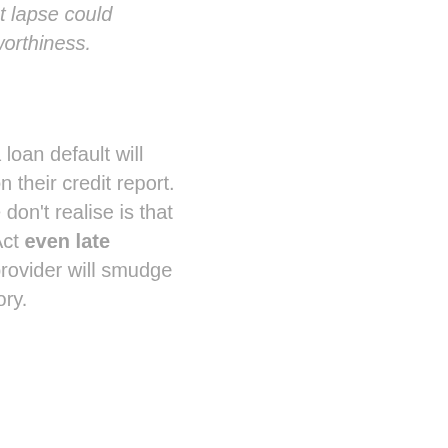st lapse could worthiness.
a loan default will on their credit report. e don't realise is that Act even late provider will smudge tory.
mounts exceeding aid within 14 days of ed in a report called ion (RHI). Paying only ll also be recorded on nt.With regard to s applies if the ade.
n?